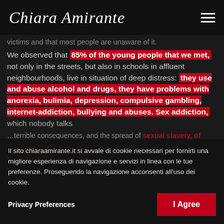Chiara Amirante
victims and that most people are unaware of it. We observed that 85% of the young people that we met, not only in the streets, but also in schools in affluent neighbourhoods, live in situation of deep distress: they use and abuse alcohol and drugs, they have problems with anorexia, bulimia, depression, compulsive gambling, internet-addiction, bullying and abuses. Sex addiction, which nobody talks ...terrible consequences, and the spread of sexual slavery, of paedophilia and abortions. According to the WHO the ... million abortions every year (and c...
Il sito chiaraamirante.it si avvale di cookie necessari per fornirti una migliore esperienza di navigazione e servizi in linea con le tue preferenze. Proseguendo la navigazione acconsenti all'uso dei cookie.
Privacy Preferences
I Agree